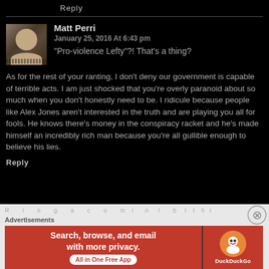Reply
Matt Perri
January 25, 2016 At 6:43 pm
“Pro-violence Lefty”?! That’s a thing?
As for the rest of your ranting, I don’t deny our government is capable of terrible acts. I am just shocked that you’re overly paranoid about so much when you don’t honestly need to be. I ridicule because people like Alex Jones aren’t interested in the truth and are playing you all for fools. He knows there’s money in the conspiracy racket and he’s made himself an incredibly rich man because you’re all gullible enough to believe his lies.
Reply
Advertisements
[Figure (infographic): DuckDuckGo advertisement banner: orange-red background with text 'Search, browse, and email with more privacy. All in One Free App' on the left and DuckDuckGo logo on the right.]